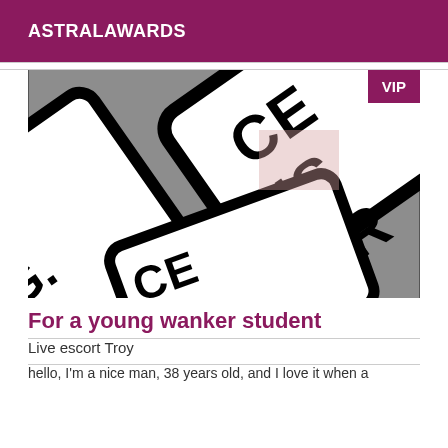ASTRALAWARDS
[Figure (photo): Censored image showing stencil/stamp signs with 'censure' text, black and white on gray background, with a VIP badge in the top right corner]
For a young wanker student
Live escort Troy
hello, I'm a nice man, 38 years old, and I love it when a